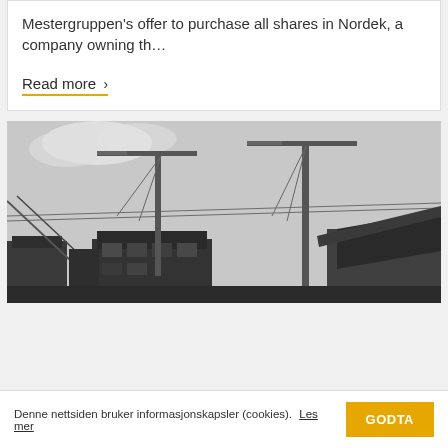Mestergruppen's offer to purchase all shares in Nordek, a company owning th…
Read more >
[Figure (photo): Black and white photograph of a construction site showing cranes and partially constructed buildings against an overcast sky]
Denne nettsiden bruker informasjonskapsler (cookies). Les mer GODTA